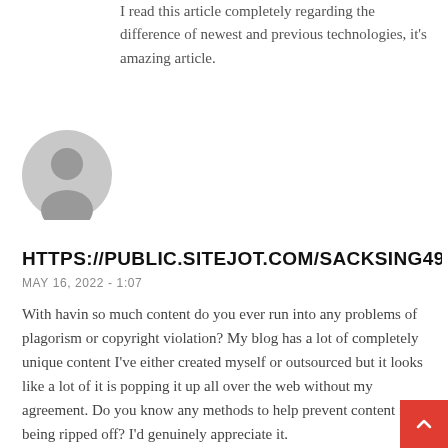I read this article completely regarding the difference of newest and previous technologies, it's amazing article.
[Figure (illustration): Generic user avatar icon — grey circle with silhouette of a person's head and shoulders]
HTTPS://PUBLIC.SITEJOT.COM/SACKSING49.HTM
MAY 16, 2022 - 1:07
With havin so much content do you ever run into any problems of plagorism or copyright violation? My blog has a lot of completely unique content I've either created myself or outsourced but it looks like a lot of it is popping it up all over the web without my agreement. Do you know any methods to help prevent content from being ripped off? I'd genuinely appreciate it.